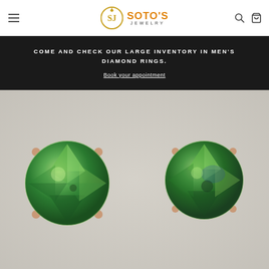Soto's Jewelry — navigation header with menu, logo, search and cart icons
COME AND CHECK OUR LARGE INVENTORY IN MEN'S DIAMOND RINGS.
Book your appointment
[Figure (photo): Two round green gemstone stud earrings with rose gold prong settings on a light gray/beige background]